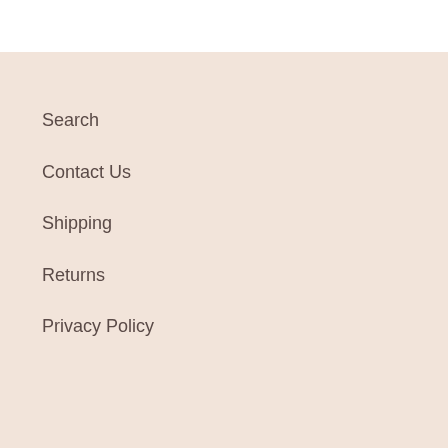Search
Contact Us
Shipping
Returns
Privacy Policy